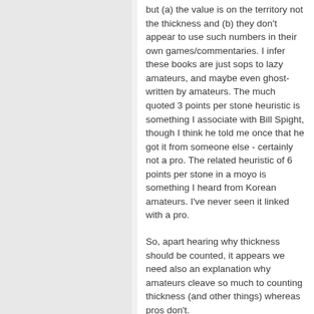but (a) the value is on the territory not the thickness and (b) they don't appear to use such numbers in their own games/commentaries. I infer these books are just sops to lazy amateurs, and maybe even ghost-written by amateurs. The much quoted 3 points per stone heuristic is something I associate with Bill Spight, though I think he told me once that he got it from someone else - certainly not a pro. The related heuristic of 6 points per stone in a moyo is something I heard from Korean amateurs. I've never seen it linked with a pro.
So, apart hearing why thickness should be counted, it appears we need also an explanation why amateurs cleave so much to counting thickness (and other things) whereas pros don't.
In real pro commentary life, the way